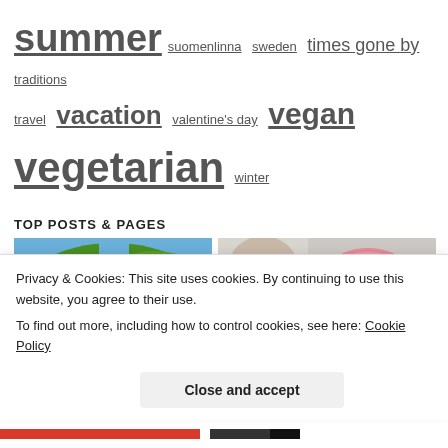summer suomenlinna sweden times gone by traditions travel vacation valentine's day vegan vegetarian winter
TOP POSTS & PAGES
[Figure (photo): Photo of trees with green and yellow foliage against a blue sky]
[Figure (photo): Photo of a child blowing a large pink bubble with bubble gum]
Privacy & Cookies: This site uses cookies. By continuing to use this website, you agree to their use.
To find out more, including how to control cookies, see here: Cookie Policy
Close and accept